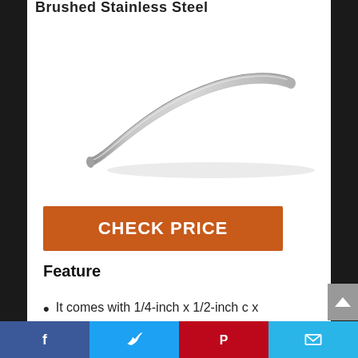Brushed Stainless Steel
[Figure (photo): A brushed stainless steel curved cabinet handle/pull, shown at an angle on a white background. The handle has a sleek arched form tapering at both ends.]
CHECK PRICE
Feature
It comes with 1/4-inch x 1/2-inch c x